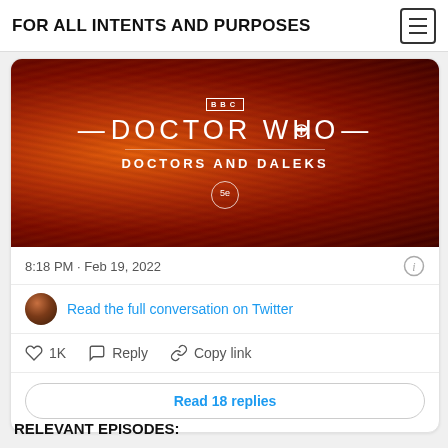FOR ALL INTENTS AND PURPOSES
[Figure (screenshot): Doctor Who: Doctors and Daleks promotional image with BBC logo, title text, and 5e edition badge on a red/orange streaked background]
8:18 PM · Feb 19, 2022
Read the full conversation on Twitter
1K   Reply   Copy link
Read 18 replies
RELEVANT EPISODES: